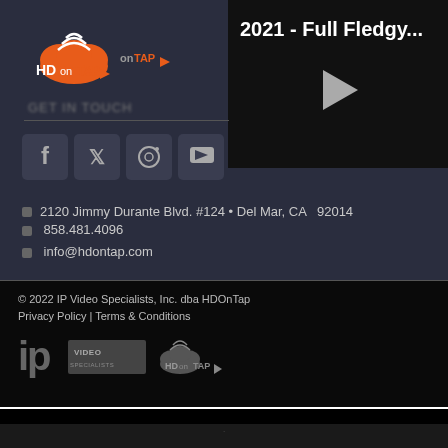[Figure (logo): HD on Tap logo - orange cloud with wifi signals and HD on Tap text]
[Figure (screenshot): Video thumbnail showing '2021 - Full Fledgy...' title with play button on dark background]
[Figure (illustration): Social media icons row: Facebook, Twitter, Instagram, YouTube]
2120 Jimmy Durante Blvd. #124 • Del Mar, CA  92014
858.481.4096
info@hdontap.com
© 2022 IP Video Specialists, Inc. dba HDOnTap
Privacy Policy | Terms & Conditions
[Figure (logo): IP Video Specialists and HD on Tap footer logos]
AN ELITE CAFEMEDIA PUBLISHER